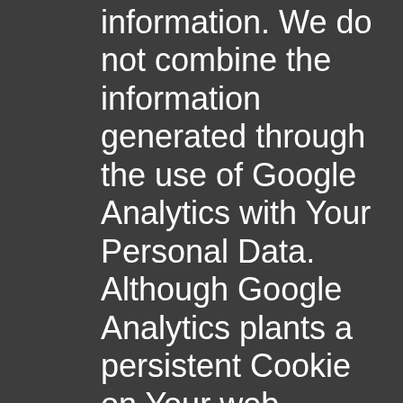information. We do not combine the information generated through the use of Google Analytics with Your Personal Data. Although Google Analytics plants a persistent Cookie on Your web browser to identify You as a unique user the next time You visit the Site and use Services, the Cookie cannot be used by anyone but Google. Google’s ability to use and share information collected by Google Analytics about Your visits to the Site and use of Services is restricted by the Google Analytics Terms of Use and the Google Privacy Policy.